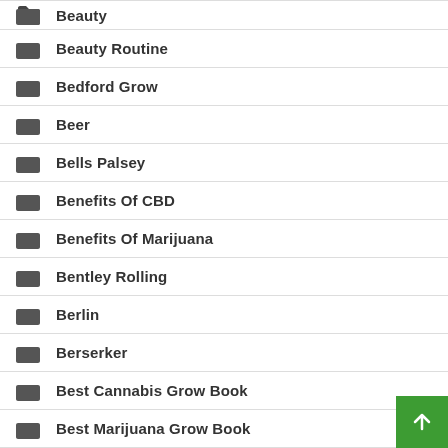Beauty
Beauty Routine
Bedford Grow
Beer
Bells Palsey
Benefits Of CBD
Benefits Of Marijuana
Bentley Rolling
Berlin
Berserker
Best Cannabis Grow Book
Best Marijuana Grow Book
Best Marijuana Strains For Nerve Pain